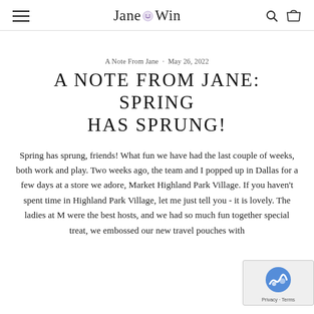Jane Win
A Note From Jane · May 26, 2022
A NOTE FROM JANE: SPRING HAS SPRUNG!
Spring has sprung, friends! What fun we have had the last couple of weeks, both work and play. Two weeks ago, the team and I popped up in Dallas for a few days at a store we adore, Market Highland Park Village. If you haven't spent time in Highland Park Village, let me just tell you - it is lovely. The ladies at M were the best hosts, and we had so much fun together special treat, we embossed our new travel pouches with